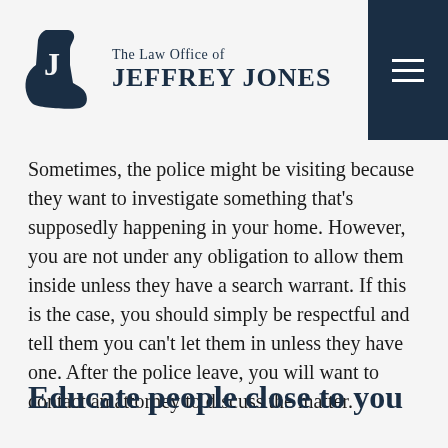[Figure (logo): The Law Office of Jeffrey Jones logo with a cowboy boot and 'J' icon in dark navy blue, with firm name text beside it]
Sometimes, the police might be visiting because they want to investigate something that's supposedly happening in your home. However, you are not under any obligation to allow them inside unless they have a search warrant. If this is the case, you should simply be respectful and tell them you can't let them in unless they have one. After the police leave, you will want to contact an attorney to discuss the matter.
Educate people close to you